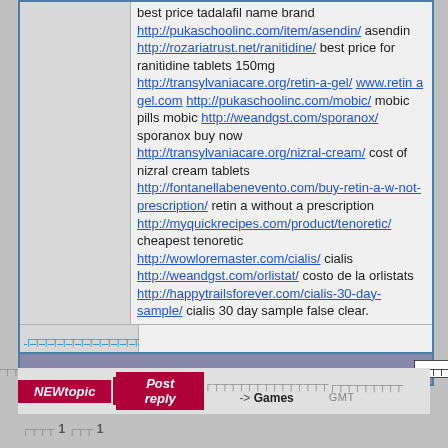best price tadalafil name brand http://pukaschoolinc.com/item/asendin/ asendin http://rozariatrust.net/ranitidine/ best price for ranitidine tablets 150mg http://transylvaniacare.org/retin-a-gel/ www.retina gel.com http://pukaschoolinc.com/mobic/ mobic pills mobic http://weandgst.com/sporanox/ sporanox buy now http://transylvaniacare.org/nizral-cream/ cost of nizral cream tablets http://fontanellabenevento.com/buy-retin-a-w-not-prescription/ retin a without a prescription http://myquickrecipes.com/product/tenoretic/ cheapest tenoretic http://wowloremaster.com/cialis/ cialis http://weandgst.com/orlistat/ costo de la orlistats http://happytrailsforever.com/cialis-30-day-sample/ cialis 30 day sample false clear.
[scrambled link text]
[scrambled toolbar label]
NEWtopic  Post reply  [nav] -> Games  [scrambled] GMT
[scrambled] 1 [scrambled] 1